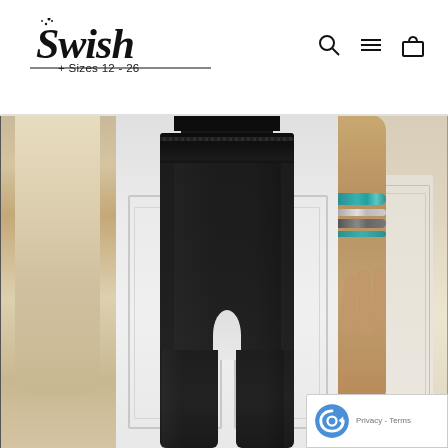[Figure (logo): Swish brand logo with italic script font, subtitle '+ Sizes 12 - 26', and navigation icons (search, menu, bag) in the top right]
[Figure (photo): E-commerce fashion photo showing black elasticated-waist trousers/pants on a model, center panel. Left strip shows partial view of another outfit. Right strip shows person holding hands. reCAPTCHA privacy badge visible in bottom right.]